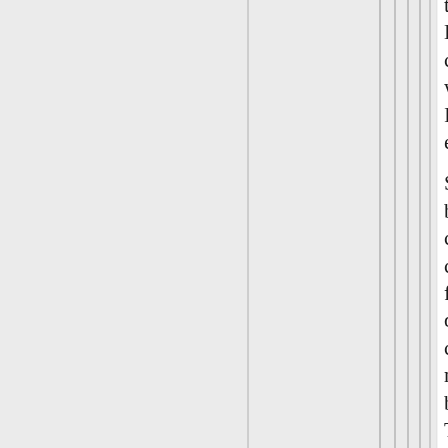this assure success?  Helll no.  But I am certain that it in no way assures failure.  It will be a close call, either way.

Sorry to go long, but.....one of those cases where complexity is called for I am afraid, in dealing with a complex subject.  Tell me where you think I blew it....
This has been fun. :-)
Roger Conner known to you